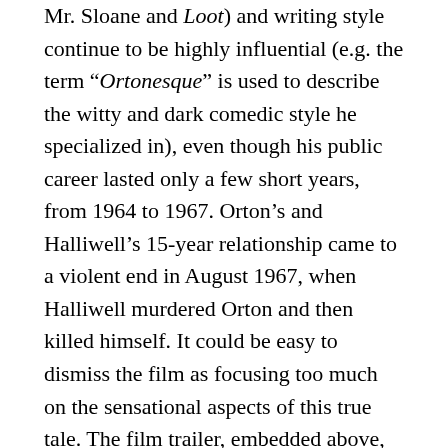Mr. Sloane and Loot) and writing style continue to be highly influential (e.g. the term “Ortonesque” is used to describe the witty and dark comedic style he specialized in), even though his public career lasted only a few short years, from 1964 to 1967. Orton’s and Halliwell’s 15-year relationship came to a violent end in August 1967, when Halliwell murdered Orton and then killed himself. It could be easy to dismiss the film as focusing too much on the sensational aspects of this true tale. The film trailer, embedded above, focuses primarily on the murder/suicide, and the film itself begins with Halliwell covered in blood after murdering Orton and ends with Orton’s funeral. But in-between, we follow along with the flashbacks and flash-forwards